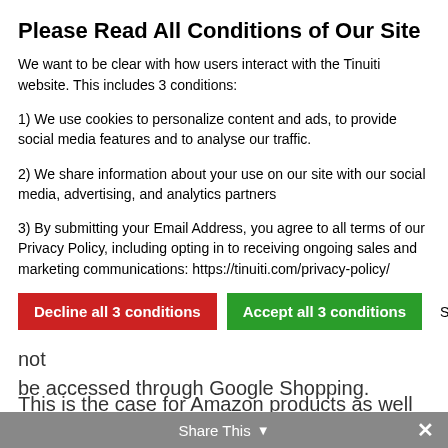Please Read All Conditions of Our Site
We want to be clear with how users interact with the Tinuiti website. This includes 3 conditions:
1) We use cookies to personalize content and ads, to provide social media features and to analyse our traffic.
2) We share information about your use on our site with our social media, advertising, and analytics partners
3) By submitting your Email Address, you agree to all terms of our Privacy Policy, including opting in to receiving ongoing sales and marketing communications: https://tinuiti.com/privacy-policy/
Decline all 3 conditions | Accept all 3 conditions | Show details
websites directly after finding out they could not be accessed through Google Shopping.
This is the case for Amazon products as well as restricted products on Google Shopping, such as wine, tobacco products, and weapons.